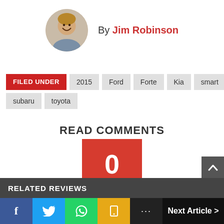By Jim Robinson
FILED UNDER  2015  Ford  Forte  Kia  smart  subaru  toyota
READ COMMENTS
[Figure (infographic): Red speech bubble with number 0 inside]
RELATED REVIEWS
Next Article >